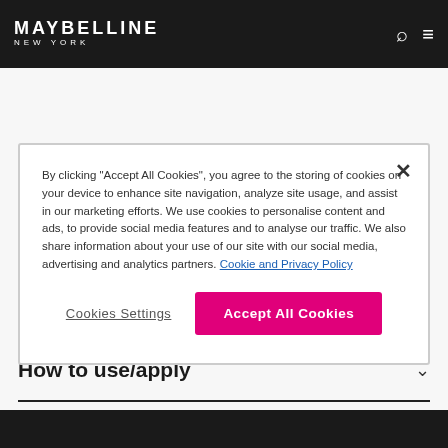MAYBELLINE NEW YORK
By clicking "Accept All Cookies", you agree to the storing of cookies on your device to enhance site navigation, analyze site usage, and assist in our marketing efforts. We use cookies to personalise content and ads, to provide social media features and to analyse our traffic. We also share information about your use of our site with our social media, advertising and analytics partners. Cookie and Privacy Policy
Cookies Settings
Accept All Cookies
How to use/apply
Ingredients